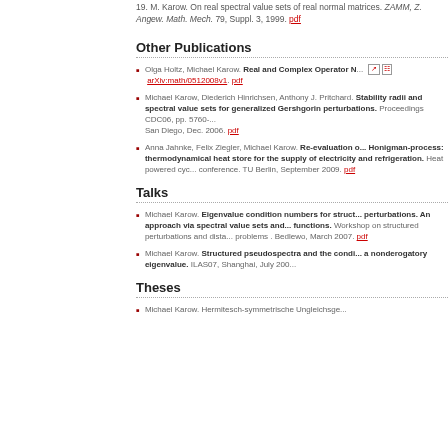19. M. Karow. On real spectral value sets of real normal matrices. ZAMM, Z. Angew. Math. Mech. 79, Suppl. 3, 1999. pdf
Other Publications
Olga Holtz, Michael Karow. Real and Complex Operator N... arXiv:math/0512008v1. pdf
Michael Karow, Diederich Hinrichsen, Anthony J. Pritchard. Stability radii and spectral value sets for generalized Gershgorin perturbations. Proceedings CDC06, pp. 5760-... San Diego, Dec. 2006. pdf
Anna Jahnke, Felix Ziegler, Michael Karow. Re-evaluation o... Honigman-process: thermodynamical heat store for the supply of electricity and refrigeration. Heat powered cyc... conference. TU Berlin, September 2009. pdf
Talks
Michael Karow. Eigenvalue condition numbers for struct... perturbations. An approach via spectral value sets and... functions. Workshop on structured perturbations and dista... problems . Bedlewo, March 2007. pdf
Michael Karow. Structured pseudospectra and the condi... a nonderogatory eigenvalue. ILAS07, Shanghai, July 200...
Theses
Michael Karow. Hermitesch-symmetrische Ungleichsge...